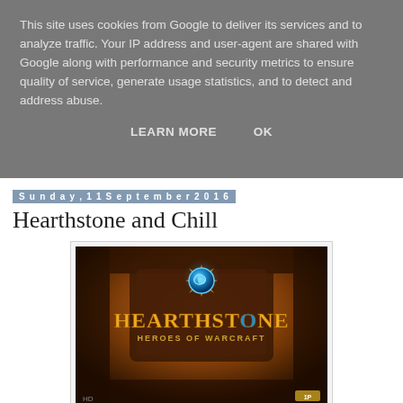This site uses cookies from Google to deliver its services and to analyze traffic. Your IP address and user-agent are shared with Google along with performance and security metrics to ensure quality of service, generate usage statistics, and to detect and address abuse.
LEARN MORE   OK
Sunday, 11 September 2016
Hearthstone and Chill
[Figure (photo): Screenshot of the Hearthstone: Heroes of Warcraft game title screen showing the stylized Hearthstone logo with a blue swirling gem above golden ornate lettering on a dark wooden background.]
No no no this isn't on the same level as Netflix and Chill.